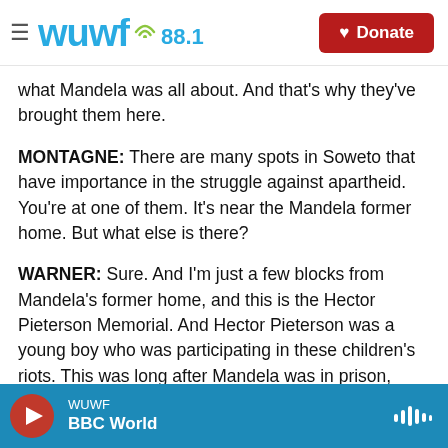WUWF 88.1 — Donate
what Mandela was all about. And that's why they've brought them here.
MONTAGNE: There are many spots in Soweto that have importance in the struggle against apartheid. You're at one of them. It's near the Mandela former home. But what else is there?
WARNER: Sure. And I'm just a few blocks from Mandela's former home, and this is the Hector Pieterson Memorial. And Hector Pieterson was a young boy who was participating in these children's riots. This was long after Mandela was in prison,
WUWF — BBC World